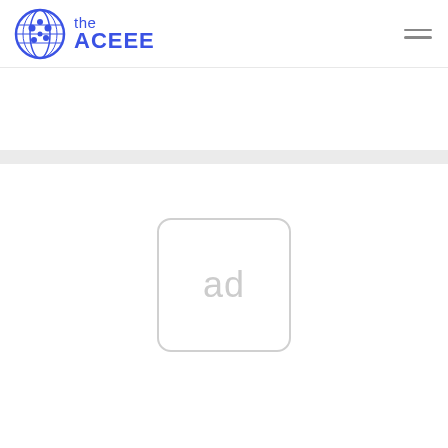[Figure (logo): ACEEE website header with circular globe logo and 'the ACEEE' text in blue, plus hamburger menu icon on the right]
[Figure (other): Ad placeholder box with rounded corners showing 'ad' text in light gray]